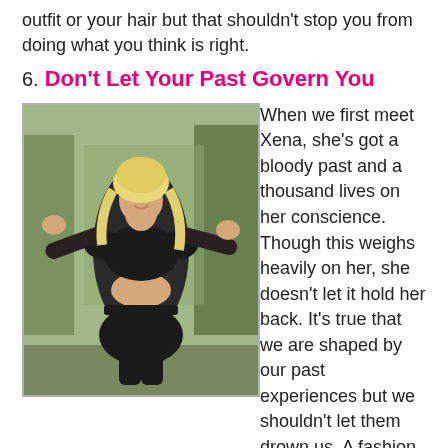outfit or your hair but that shouldn't stop you from doing what you think is right.
6. Don't Let Your Past Govern You
[Figure (photo): A blonde woman in a black leather warrior costume posing with arms raised, outdoors with trees in background.]
When we first meet Xena, she's got a bloody past and a thousand lives on her conscience. Though this weighs heavily on her, she doesn't let it hold her back. It's true that we are shaped by our past experiences but we shouldn't let them drown us. A fashion faux pas shouldn't keep up from trying new styles the same way a bad grade shouldn't make us give up in the class (and I speak from personal experience on this one). We are more